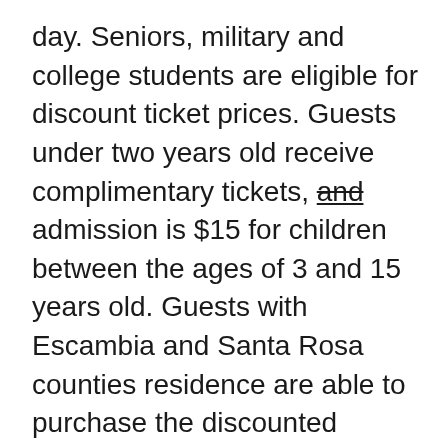day. Seniors, military and college students are eligible for discount ticket prices. Guests under two years old receive complimentary tickets, and admission is $15 for children between the ages of 3 and 15 years old. Guests with Escambia and Santa Rosa counties residence are able to purchase the discounted Locals card. The card is a set of 10 tickets at the price of $15 each, and it's valid all season for scheduled service.
Pensacola Bay Cruises has two vessels: Turtle Runner and Pelican Perch. Each vessel can fit up to 149 passengers. Kelly Langley, the Events and Sales Coordinator for Pensacola Bay Cruises, said that due to CDC's social distancing